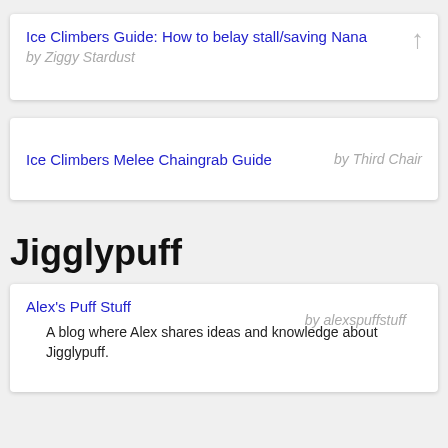Ice Climbers Guide: How to belay stall/saving Nana by Ziggy Stardust
Ice Climbers Melee Chaingrab Guide by Third Chair
Jigglypuff
Alex's Puff Stuff by alexspuffstuff — A blog where Alex shares ideas and knowledge about Jigglypuff.